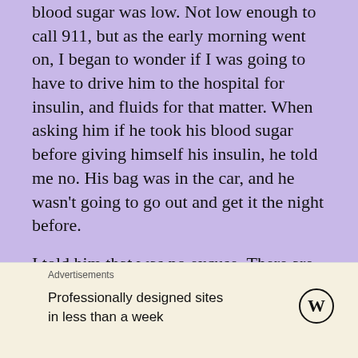blood sugar was low. Not low enough to call 911, but as the early morning went on, I began to wonder if I was going to have to drive him to the hospital for insulin, and fluids for that matter. When asking him if he took his blood sugar before giving himself his insulin, he told me no. His bag was in the car, and he wasn't going to go out and get it the night before.
I told him that was no excuse. There are two other meters in this house at all times. Mine and his brother's meter. All he had to do was ask to borrow one. This decision lead me down an early morning of figuring out what to give him. We do not have juice on hand like in Steel Magnolias, even though I
Advertisements
Professionally designed sites in less than a week